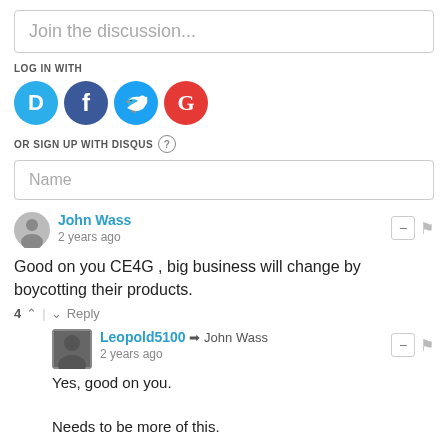Join the discussion...
LOG IN WITH
[Figure (illustration): Social login icons: Disqus (blue circle with D), Facebook (dark blue circle with f), Twitter (light blue circle with bird), Google (red circle with G)]
OR SIGN UP WITH DISQUS ?
Name
John Wass
2 years ago
Good on you CE4G , big business will change by boycotting their products.
4 ^ | v Reply
Leopold5100 → John Wass
2 years ago
Yes, good on you.

Needs to be more of this.